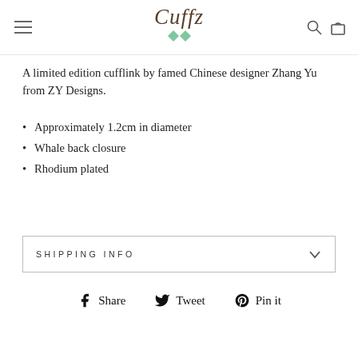Cuffz
A limited edition cufflink by famed Chinese designer Zhang Yu from ZY Designs.
Approximately 1.2cm in diameter
Whale back closure
Rhodium plated
SHIPPING INFO
Share  Tweet  Pin it